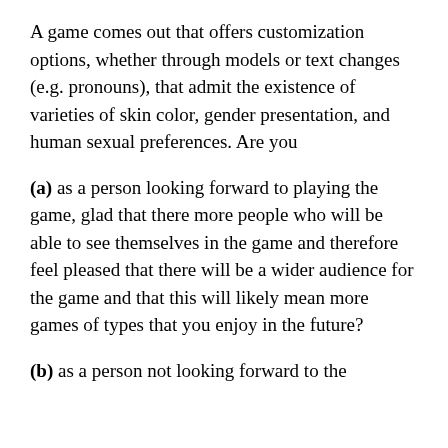A game comes out that offers customization options, whether through models or text changes (e.g. pronouns), that admit the existence of varieties of skin color, gender presentation, and human sexual preferences. Are you
(a) as a person looking forward to playing the game, glad that there more people who will be able to see themselves in the game and therefore feel pleased that there will be a wider audience for the game and that this will likely mean more games of types that you enjoy in the future?
(b) as a person not looking forward to the